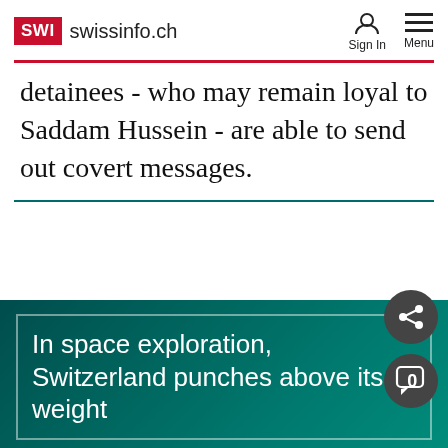SWI swissinfo.ch | Sign In | Menu
detainees - who may remain loyal to Saddam Hussein - are able to send out covert messages.
In space exploration, Switzerland punches above its weight